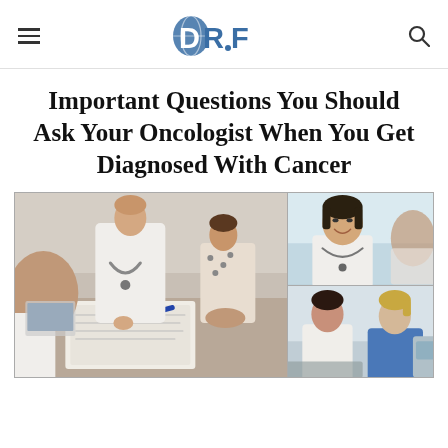DRF (logo)
Important Questions You Should Ask Your Oncologist When You Get Diagnosed With Cancer
[Figure (photo): Collage of three medical consultation photos: a large image on the left showing a doctor in a white coat with stethoscope writing on a clipboard across a desk from two patients; top-right showing a smiling Asian female doctor with a patient in the background; bottom-right showing a female patient in white blouse speaking with a nurse in blue scrubs.]